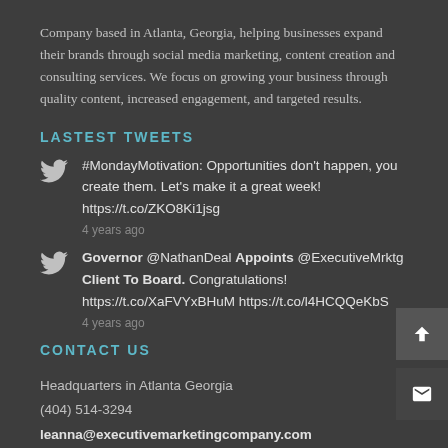Company based in Atlanta, Georgia, helping businesses expand their brands through social media marketing, content creation and consulting services. We focus on growing your business through quality content, increased engagement, and targeted results.
LASTEST TWEETS
#MondayMotivation: Opportunities don't happen, you create them. Let's make it a great week! https://t.co/ZKO8Ki1jsg
4 years ago
Governor @NathanDeal Appoints @ExecutiveMrktg Client To Board. Congratulations! https://t.co/XaFVYxBHuM https://t.co/l4HCQQeKbS
4 years ago
CONTACT US
Headquarters in Atlanta Georgia
(404) 514-3294
leanna@executivemarketingcompany.com